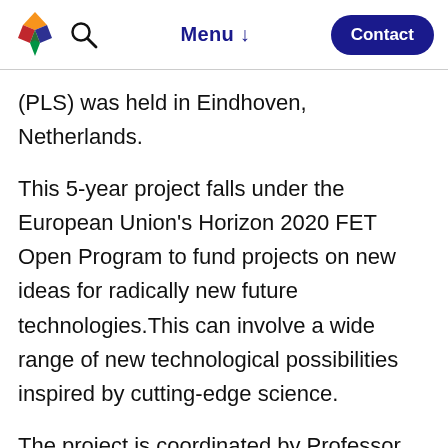Menu  Contact
(PLS) was held in Eindhoven, Netherlands.
This 5-year project falls under the European Union's Horizon 2020 FET Open Program to fund projects on new ideas for radically new future technologies.This can involve a wide range of new technological possibilities inspired by cutting-edge science.
The project is coordinated by Professor Frans van de Vosse of the Eindhoven University of Technology. The project started and...